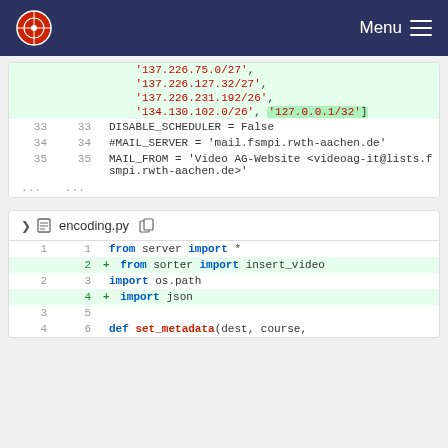Menu
[Figure (screenshot): Code diff block showing lines 33-35 and ellipsis of a configuration file with IP addresses, DISABLE_SCHEDULER, #MAIL_SERVER, and MAIL_FROM settings]
encoding.py
[Figure (screenshot): Code diff block for encoding.py showing lines 1-6 including: from server import *, from sorter import insert_video (added), import os.path, import json (added), blank line, def set_metadata(dest, course,]